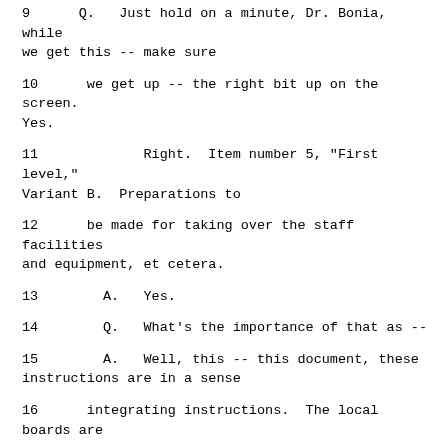9    Q.   Just hold on a minute, Dr. Bonia, while we get this -- make sure
10       we get up -- the right bit up on the screen. Yes.
11              Right.  Item number 5, "First level," Variant B.  Preparations to
12       be made for taking over the staff facilities and equipment, et cetera.
13        A.   Yes.
14        Q.   What's the importance of that as --
15        A.   Well, this -- this document, these instructions are in a sense
16       integrating instructions.  The local boards are